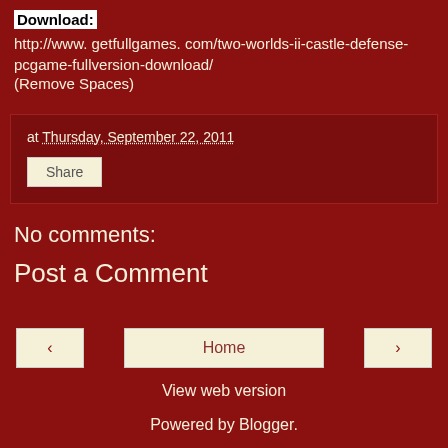Download:
http://www. getfullgames. com/two-worlds-ii-castle-defense-pcgame-fullversion-download/
(Remove Spaces)
at Thursday, September 22, 2011
Share
No comments:
Post a Comment
‹
Home
›
View web version
Powered by Blogger.